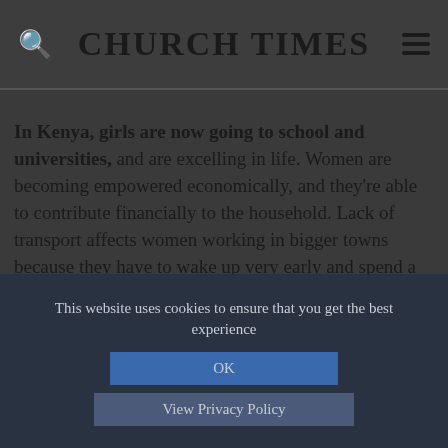CHURCH TIMES
In Kenya, girls are now going to school and universities, and are excelling in life. Women are becoming empowered economically, and they're able to contribute financially to the household. Lack of transport affects women working in bigger towns because they have to wake up very early and spend a lot of time on the road to get to work on time. In some communities in Kenya, women and men couldn't socialise together, but this is changing. Many of our trust
This website uses cookies to ensure that you get the best experience
OK
View Privacy Policy